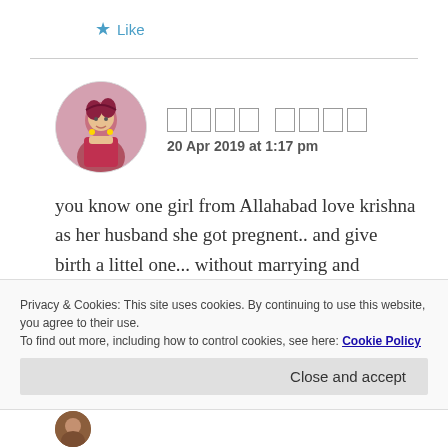★ Like
20 Apr 2019 at 1:17 pm
you know one girl from Allahabad love krishna as her husband she got pregnent.. and give birth a littel one... without marrying and without any relation..
Privacy & Cookies: This site uses cookies. By continuing to use this website, you agree to their use.
To find out more, including how to control cookies, see here: Cookie Policy
Close and accept